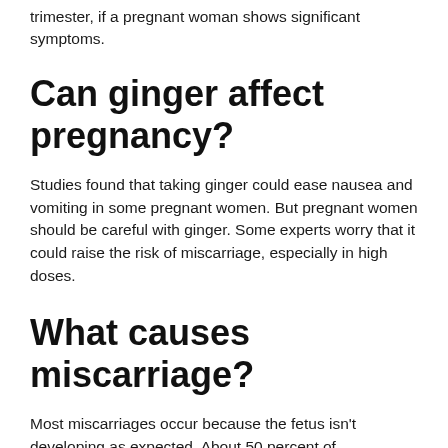trimester, if a pregnant woman shows significant symptoms.
Can ginger affect pregnancy?
Studies found that taking ginger could ease nausea and vomiting in some pregnant women. But pregnant women should be careful with ginger. Some experts worry that it could raise the risk of miscarriage, especially in high doses.
What causes miscarriage?
Most miscarriages occur because the fetus isn't developing as expected. About 50 percent of miscarriages are associated with